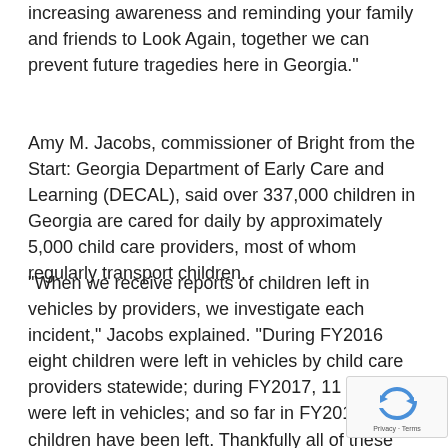increasing awareness and reminding your family and friends to Look Again, together we can prevent future tragedies here in Georgia."
Amy M. Jacobs, commissioner of Bright from the Start: Georgia Department of Early Care and Learning (DECAL), said over 337,000 children in Georgia are cared for daily by approximately 5,000 child care providers, most of whom regularly transport children.
"When we receive reports of children left in vehicles by providers, we investigate each incident," Jacobs explained. "During FY2016 eight children were left in vehicles by child care providers statewide; during FY2017, 11 children were left in vehicles; and so far in FY2018, 10 children have been left. Thankfully all of these children survived, but one child unattended in a vehicle is one child too many and, despite best efforts, these numbers show there is still work to be